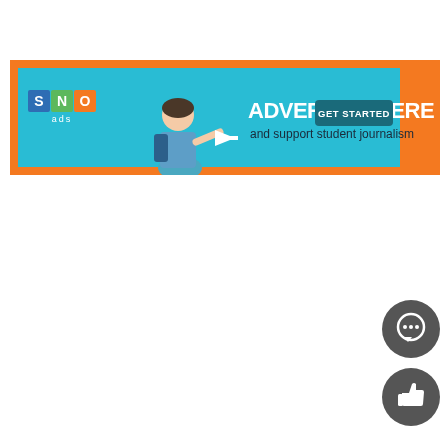[Figure (infographic): SNO ads banner advertisement. Cyan/teal background with orange accents. Left side shows SNO ads logo (white text on colored squares: S=blue, N=green, O=orange, with 'ads' below). Center shows a young woman with a backpack pointing right. Large bold white text reads 'ADVERTISE HERE' and below in dark text 'and support student journalism'. Right side has a dark teal button with white text 'GET STARTED'. Far right orange vertical stripe.]
[Figure (other): Dark gray circular button with white speech bubble / comment icon]
[Figure (other): Dark gray circular button with white thumbs up / like icon]